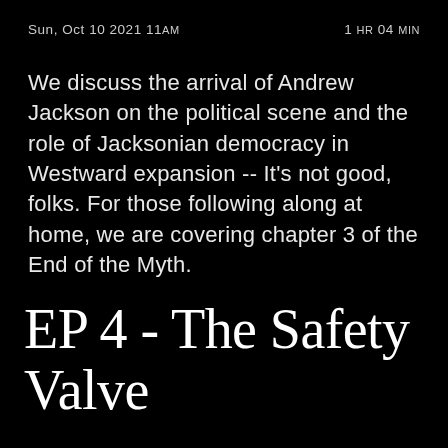Sun, Oct 10 2021 11am    1 HR 04 MIN
We discuss the arrival of Andrew Jackson on the political scene and the role of Jacksonian democracy in Westward expansion -- It's not good, folks. For those following along at home, we are covering chapter 3 of the End of the Myth.
EP 4 - The Safety Valve